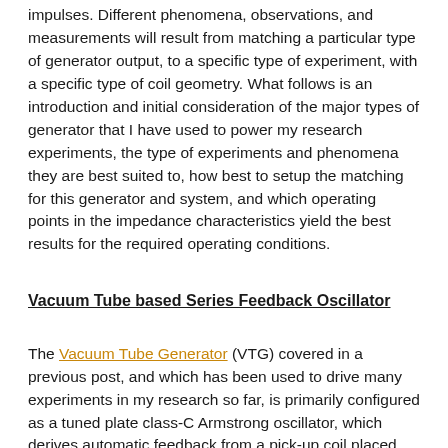impulses. Different phenomena, observations, and measurements will result from matching a particular type of generator output, to a specific type of experiment, with a specific type of coil geometry. What follows is an introduction and initial consideration of the major types of generator that I have used to power my research experiments, the type of experiments and phenomena they are best suited to, how best to setup the matching for this generator and system, and which operating points in the impedance characteristics yield the best results for the required operating conditions.
Vacuum Tube based Series Feedback Oscillator
The Vacuum Tube Generator (VTG) covered in a previous post, and which has been used to drive many experiments in my research so far, is primarily configured as a tuned plate class-C Armstrong oscillator, which derives automatic feedback from a pick-up coil placed close to the secondary coil. This